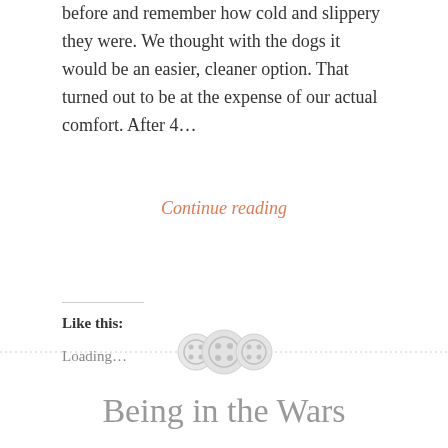before and remember how cold and slippery they were. We thought with the dogs it would be an easier, cleaner option. That turned out to be at the expense of our actual comfort. After 4…
Continue reading
Like this:
Loading…
Being in the Wars